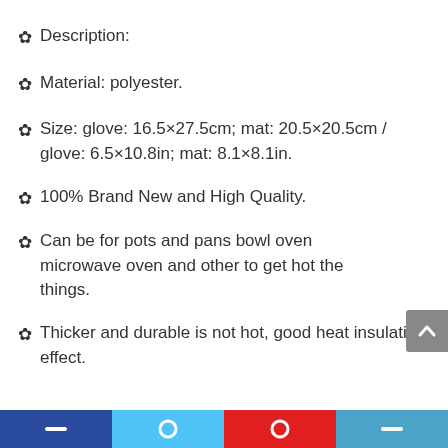✿ Description:
✿ Material: polyester.
✿ Size: glove: 16.5×27.5cm; mat: 20.5×20.5cm / glove: 6.5×10.8in; mat: 8.1×8.1in.
✿ 100% Brand New and High Quality.
✿ Can be for pots and pans bowl oven microwave oven and other to get hot the things.
✿ Thicker and durable is not hot, good heat insulation effect.